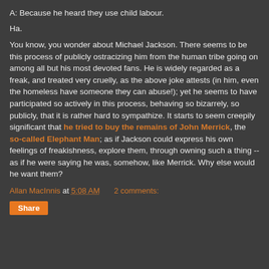A: Because he heard they use child labour.
Ha.
You know, you wonder about Michael Jackson. There seems to be this process of publicly ostracizing him from the human tribe going on among all but his most devoted fans. He is widely regarded as a freak, and treated very cruelly, as the above joke attests (in him, even the homeless have someone they can abuse!); yet he seems to have participated so actively in this process, behaving so bizarrely, so publicly, that it is rather hard to sympathize. It starts to seem creepily significant that he tried to buy the remains of John Merrick, the so-called Elephant Man; as if Jackson could express his own feelings of freakishness, explore them, through owning such a thing -- as if he were saying he was, somehow, like Merrick. Why else would he want them?
Allan MacInnis at 5:08 AM   2 comments:
Share